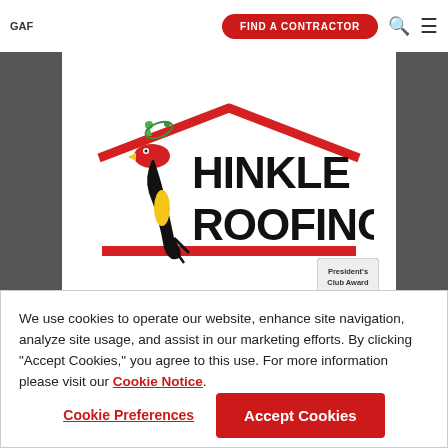GAF | FIND A CONTRACTOR
[Figure (logo): Hinkle Roofing logo with cartoon woodpecker character, red roof graphic, and bold black text reading HINKLE ROOFING]
[Figure (logo): President's Club Award badge]
We use cookies to operate our website, enhance site navigation, analyze site usage, and assist in our marketing efforts. By clicking "Accept Cookies," you agree to this use. For more information please visit our Cookie Notice.
Cookie Preferences | Accept Cookies